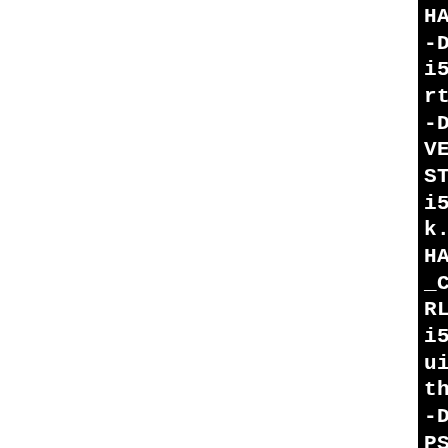[Figure (screenshot): Terminal/console output showing compiler command lines for i586-pld-linux-gcc with various flags including -DHAVE_GETDELIM, -DSHA1_HEAD, -DSHELL_PATH, -DHAVE_ALLOCA_H, -pthread, -DHAVE_CLOCK_MONOTONIC, -DNO_STRLCPY, -DNO_MKSTEMPS, and various output object file names such as builtin/fast-export, builtin/fetch-pack, builtin/fetch, builtin/fmtmerge-msg, builtin/for-each-ref.]